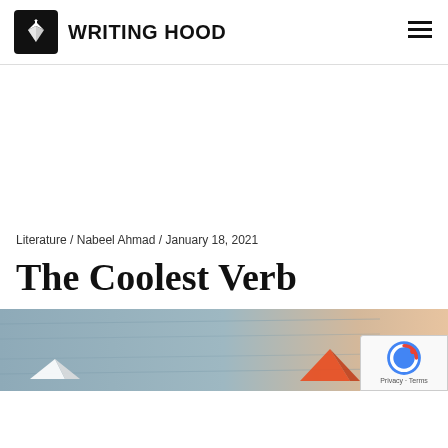WRITING HOOD
Literature / Nabeel Ahmad / January 18, 2021
The Coolest Verb
[Figure (photo): Featured image for article 'The Coolest Verb' showing colorful origami or paper objects on a wooden background]